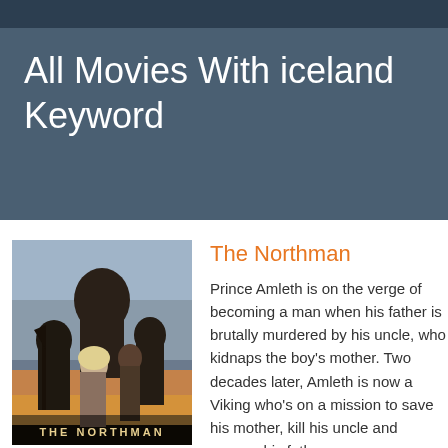All Movies With iceland Keyword
[Figure (photo): Movie poster for The Northman showing group of Viking warriors with dramatic cloudy sky background and text THE NORTHMAN at bottom]
The Northman
Prince Amleth is on the verge of becoming a man when his father is brutally murdered by his uncle, who kidnaps the boy's mother. Two decades later, Amleth is now a Viking who's on a mission to save his mother, kill his uncle and avenge his father.